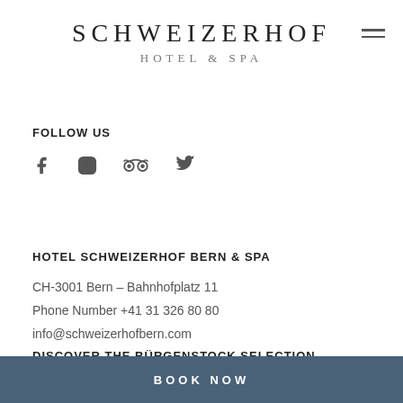SCHWEIZERHOF HOTEL & SPA
[Figure (logo): Social media icons: Facebook, Instagram, TripAdvisor, Twitter]
FOLLOW US
HOTEL SCHWEIZERHOF BERN & SPA
CH-3001 Bern – Bahnhofplatz 11
Phone Number +41 31 326 80 80
info@schweizerhofbern.com
DISCOVER THE BÜRGENSTOCK SELECTION
BOOK NOW